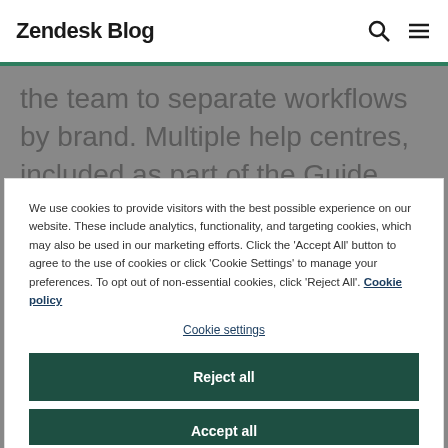Zendesk Blog
the team to separate workflows by brand. Multiple help centres, included as part of the Guide Enterprise plan, extends this idea and functionality to a self-service platform. Support and content teams can customise a help centre tailored to each brand or product's unique customer
We use cookies to provide visitors with the best possible experience on our website. These include analytics, functionality, and targeting cookies, which may also be used in our marketing efforts. Click the 'Accept All' button to agree to the use of cookies or click 'Cookie Settings' to manage your preferences. To opt out of non-essential cookies, click 'Reject All'. Cookie policy
Cookie settings
Reject all
Accept all